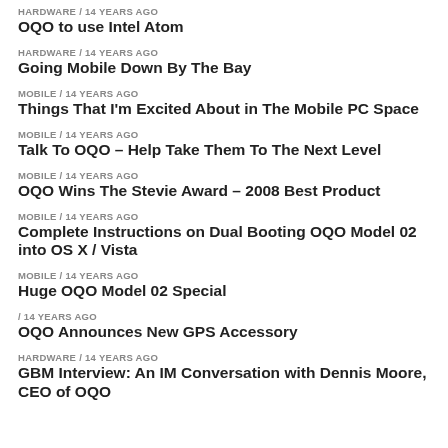HARDWARE / 14 years ago
OQO to use Intel Atom
HARDWARE / 14 years ago
Going Mobile Down By The Bay
MOBILE / 14 years ago
Things That I'm Excited About in The Mobile PC Space
MOBILE / 14 years ago
Talk To OQO – Help Take Them To The Next Level
MOBILE / 14 years ago
OQO Wins The Stevie Award – 2008 Best Product
MOBILE / 14 years ago
Complete Instructions on Dual Booting OQO Model 02 into OS X / Vista
MOBILE / 14 years ago
Huge OQO Model 02 Special
/ 14 years ago
OQO Announces New GPS Accessory
HARDWARE / 14 years ago
GBM Interview: An IM Conversation with Dennis Moore, CEO of OQO